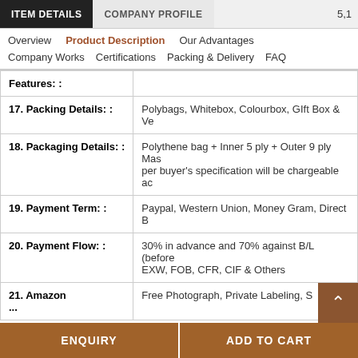ITEM DETAILS | COMPANY PROFILE | 5,1
Overview | Product Description | Our Advantages | Company Works | Certifications | Packing & Delivery | FAQ
| Field | Value |
| --- | --- |
| Features: : |  |
| 17. Packing Details: : | Polybags, Whitebox, Colourbox, GIft Box & Ve... |
| 18. Packaging Details: : | Polythene bag + Inner 5 ply + Outer 9 ply Mas... per buyer's specification will be chargeable ac... |
| 19. Payment Term: : | Paypal, Western Union, Money Gram, Direct B... |
| 20. Payment Flow: : | 30% in advance and 70% against B/L (before... EXW, FOB, CFR, CIF & Others |
| 21. Amazon ...: | Free Photograph, Private Labeling, S... t... |
ENQUIRY | ADD TO CART